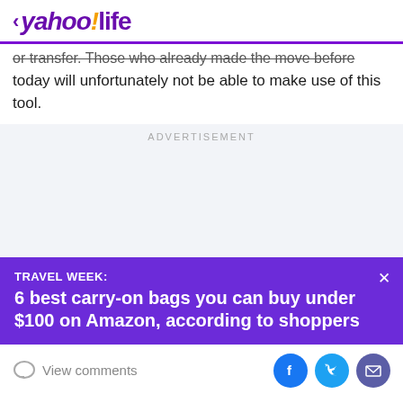< yahoo!life
or transfer. Those who already made the move before today will unfortunately not be able to make use of this tool.
ADVERTISEMENT
TRAVEL WEEK:
6 best carry-on bags you can buy under $100 on Amazon, according to shoppers
View comments